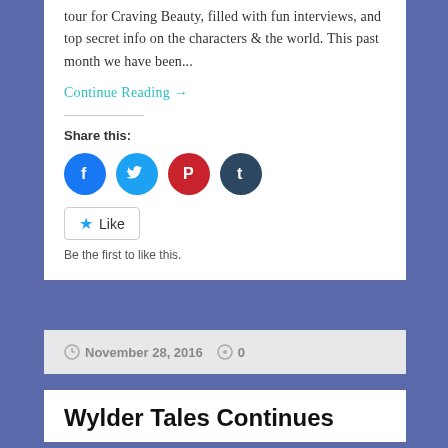tour for Craving Beauty, filled with fun interviews, and top secret info on the characters & the world. This past month we have been...
Continue Reading →
Share this:
[Figure (other): Social share buttons: Facebook, Twitter, Pinterest, Tumblr icons]
Like
Be the first to like this.
November 28, 2016  0
Wylder Tales Continues